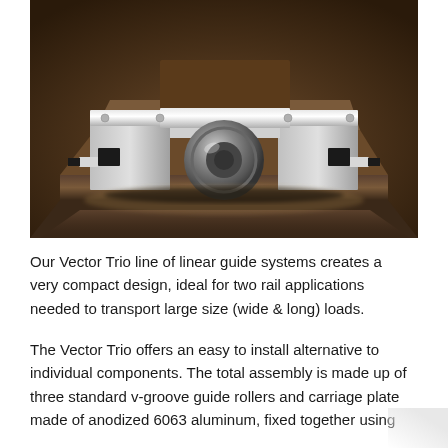[Figure (photo): Close-up photograph of a Vector Trio linear guide system component — an anodized aluminum carriage block with v-groove rollers sitting on a dark brown aluminum rail/profile, photographed on a dark wooden surface.]
Our Vector Trio line of linear guide systems creates a very compact design, ideal for two rail applications needed to transport large size (wide & long) loads.
The Vector Trio offers an easy to install alternative to individual components. The total assembly is made up of three standard v-groove guide rollers and carriage plate made of anodized 6063 aluminum, fixed together using